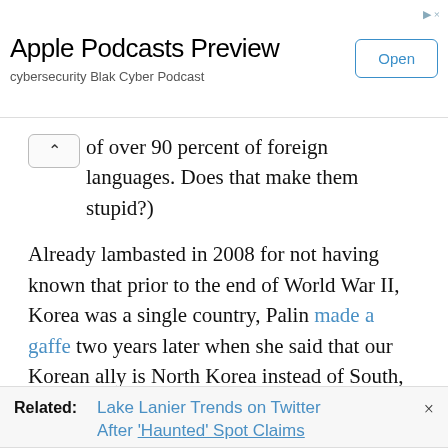[Figure (screenshot): Apple Podcasts Preview advertisement banner with Open button and cybersecurity Blak Cyber Podcast subtitle]
of over 90 percent of foreign languages. Does that make them stupid?)
Already lambasted in 2008 for not having known that prior to the end of World War II, Korea was a single country, Palin made a gaffe two years later when she said that our Korean ally is North Korea instead of South, delighting progressive media outlets for weeks on end.
Related:   Lake Lanier Trends on Twitter After 'Haunted' Spot Claims